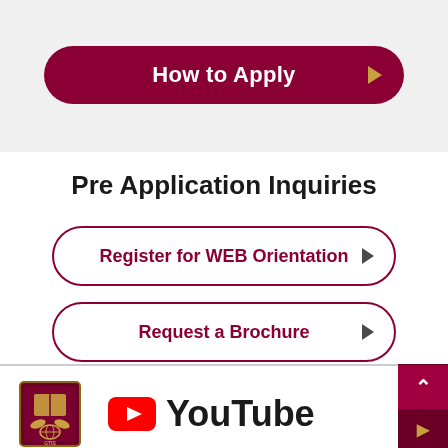How to Apply
Pre Application Inquiries
Register for WEB Orientation
Request a Brochure
[Figure (logo): School crest logo (GTIS) and YouTube logo with text 'YouTube']